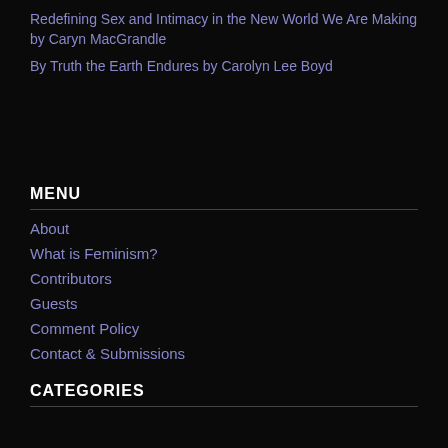Redefining Sex and Intimacy in the New World We Are Making by Caryn MacGrandle
By Truth the Earth Endures by Carolyn Lee Boyd
MENU
About
What is Feminism?
Contributors
Guests
Comment Policy
Contact & Submissions
CATEGORIES